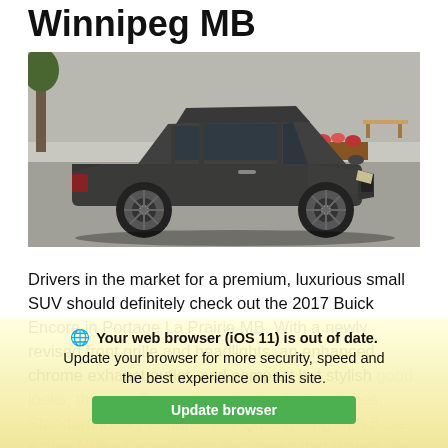Winnipeg MB
[Figure (photo): Dark gray/charcoal 2017 Buick Encore SUV photographed from the side in a suburban outdoor setting with trees and a bench in the background.]
Drivers in the market for a premium, luxurious small SUV should definitely check out the 2017 Buick Encore in Portage La Prairie MB. With a newly revised front grille and headlights, an enhanced chrome exhaust outlet, and compact but stylish good looks, the new Encore has plenty of advantages. Standard luxury features like QuietTuning with Bose Active Noise Cancellation also mean that drivers can enjoy smooth driving
Your web browser (iOS 11) is out of date. Update your browser for more security, speed and the best experience on this site. Update browser